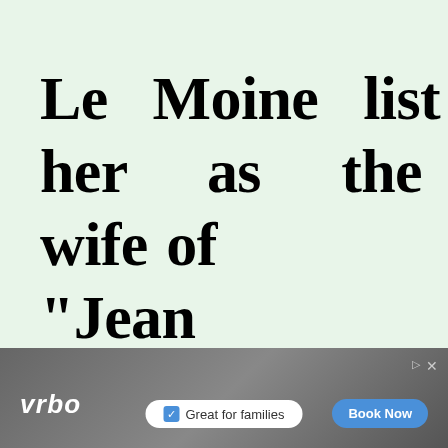Le Moine list her as the wife of "Jean Johannot of Morges, non identifié". Le Moine did not succeed in
[Figure (other): Advertisement banner for Vrbo vacation rental platform showing 'Great for families' with a Book Now button and background image of a family at a rental property]